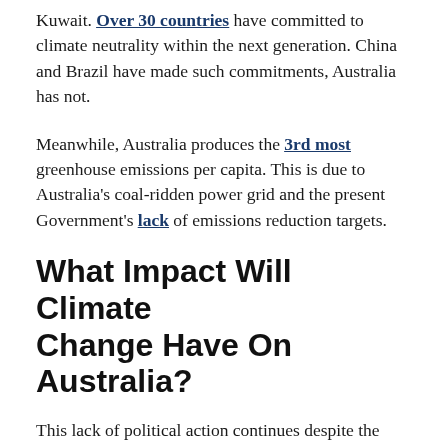Kuwait. Over 30 countries have committed to climate neutrality within the next generation. China and Brazil have made such commitments, Australia has not.
Meanwhile, Australia produces the 3rd most greenhouse emissions per capita. This is due to Australia's coal-ridden power grid and the present Government's lack of emissions reduction targets.
What Impact Will Climate Change Have On Australia?
This lack of political action continues despite the devastating impact on the nation. Australia suffers through increasingly extreme weather. In fact, the number of record-breaking hot temperatures has doubled compared to 50 years ago. Scientists have